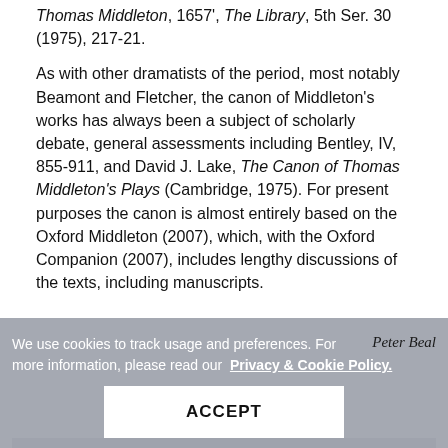Thomas Middleton, 1657', The Library, 5th Ser. 30 (1975), 217-21.
As with other dramatists of the period, most notably Beamont and Fletcher, the canon of Middleton's works has always been a subject of scholarly debate, general assessments including Bentley, IV, 855-911, and David J. Lake, The Canon of Thomas Middleton's Plays (Cambridge, 1975). For present purposes the canon is almost entirely based on the Oxford Middleton (2007), which, with the Oxford Companion (2007), includes lengthy discussions of the texts, including manuscripts.
We use cookies to track usage and preferences. For more information, please read our Privacy & Cookie Policy.
Peter Beal
ACCEPT
Powered by Kiln
Theme by Foundation